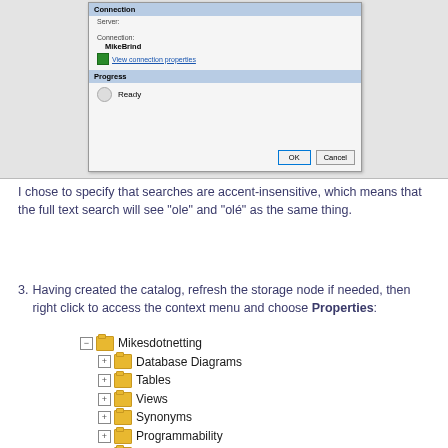[Figure (screenshot): Windows dialog box showing Connection and Progress sections with Server, Connection (MikeBrind), View connection properties link, Progress section with Ready status, and OK/Cancel buttons]
I chose to specify that searches are accent-insensitive, which means that the full text search will see "ole" and "olé" as the same thing.
3. Having created the catalog, refresh the storage node if needed, then right click to access the context menu and choose Properties:
[Figure (screenshot): SQL Server Management Studio tree view showing Mikesdotnetting database with nodes: Database Diagrams, Tables, Views, Synonyms, Programmability, Service Broker, Storage (expanded) with Full Text Catalogs (expanded)]